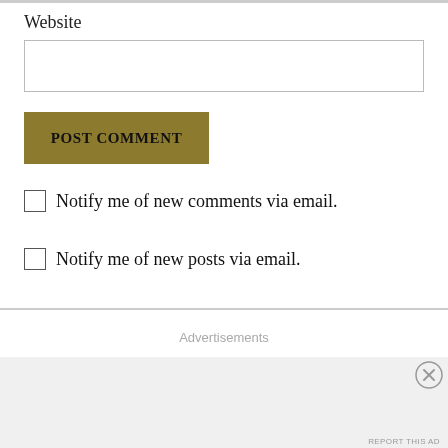Website
POST COMMENT
Notify me of new comments via email.
Notify me of new posts via email.
Advertisements
[Figure (infographic): WordPress VIP advertisement banner with logo and Learn more button]
REPORT THIS AD